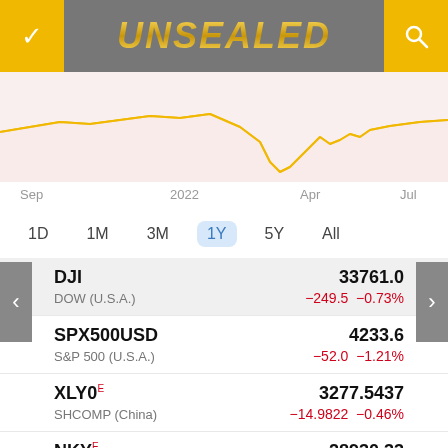UNSEALED
[Figure (continuous-plot): Stock market line chart showing a gold/yellow price line over approximately 1 year from Sep 2021 to Jul 2022, with a significant dip and recovery visible on the right side. Background is light pink/red.]
Sep    2022    Apr    Jul
1D  1M  3M  1Y  5Y  All
| Index | Value | Change | Change% |
| --- | --- | --- | --- |
| DJI
DOW (U.S.A.) | 33761.0 | −249.5 | −0.73% |
| SPX500USD
S&P 500 (U.S.A.) | 4233.6 | −52.0 | −1.21% |
| XLY0 E
SHCOMP (China) | 3277.5437 | −14.9822 | −0.46% |
| NKY E •
NIKKEI (Japan) | 28930.33 | −11.81 | −0.04% |
| DAX E | 13697.41 |  |  |